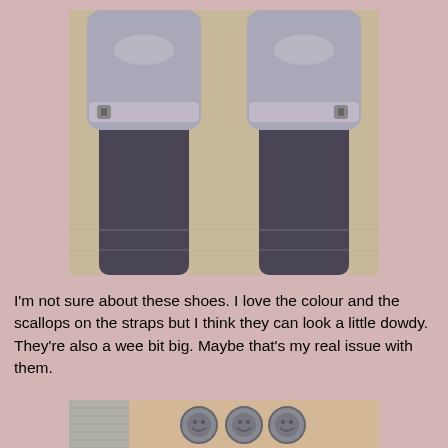[Figure (photo): Close-up photo of two feet wearing silver/grey Mary Jane shoes with scalloped straps and buckles, over dark grey tights, viewed from above on a light floor.]
I'm not sure about these shoes. I love the colour and the scallops on the straps but I think they can look a little dowdy. They're also a wee bit big. Maybe that's my real issue with them.
[Figure (photo): Partial photo showing what appears to be small round metal objects (buttons or coins) on a wooden surface next to a knitted grey sweater.]